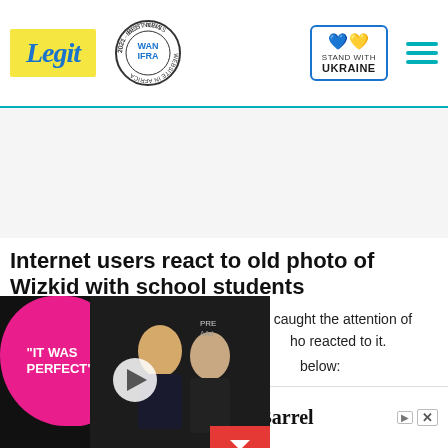Legit | WAN IFRA 2021 Best News Website in Africa | Stand with Ukraine
Internet users react to old photo of Wizkid with school students
Not long after the photo was posted, it caught the attention of many who reacted to it.
below:
[Figure (screenshot): Video player overlay showing two people on a dark background with 'IT WAS PERFECT' text in pink blob, play button, and red down-arrow dismiss button]
[Figure (other): Crate & Barrel advertisement: Visit us at Tysons Galleria. Crate&Barrel]